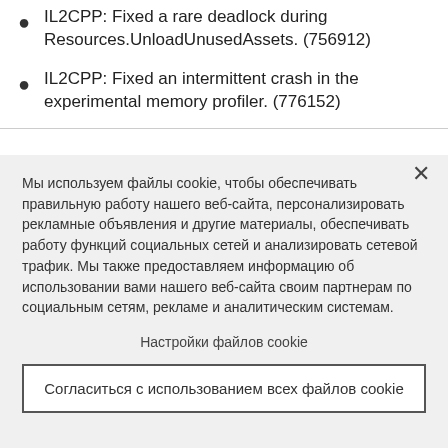IL2CPP: Fixed a rare deadlock during Resources.UnloadUnusedAssets. (756912)
IL2CPP: Fixed an intermittent crash in the experimental memory profiler. (776152)
Мы используем файлы cookie, чтобы обеспечивать правильную работу нашего веб-сайта, персонализировать рекламные объявления и другие материалы, обеспечивать работу функций социальных сетей и анализировать сетевой трафик. Мы также предоставляем информацию об использовании вами нашего веб-сайта своим партнерам по социальным сетям, рекламе и аналитическим системам.
Настройки файлов cookie
Согласиться с использованием всех файлов cookie